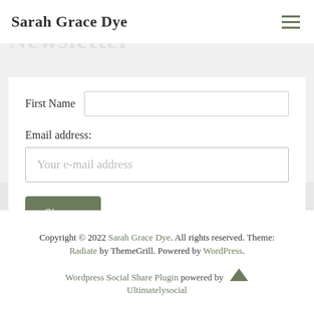Sarah Grace Dye
Newsletter
First Name
Email address:
Your e-mail address
Sign up
Copyright © 2022 Sarah Grace Dye. All rights reserved. Theme: Radiate by ThemeGrill. Powered by WordPress.
Wordpress Social Share Plugin powered by Ultimatelysocial